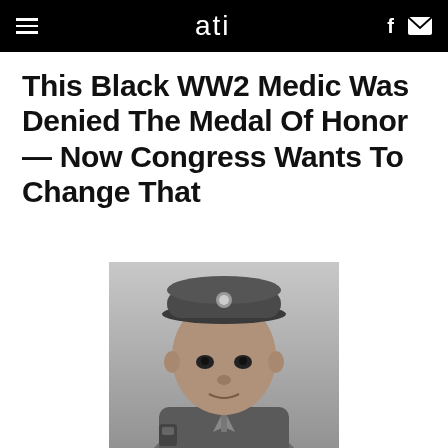ati
This Black WW2 Medic Was Denied The Medal Of Honor — Now Congress Wants To Change That
[Figure (photo): Black and white portrait photograph of a young Black man in a World War 2 U.S. Army uniform and military cap, facing slightly to the right.]